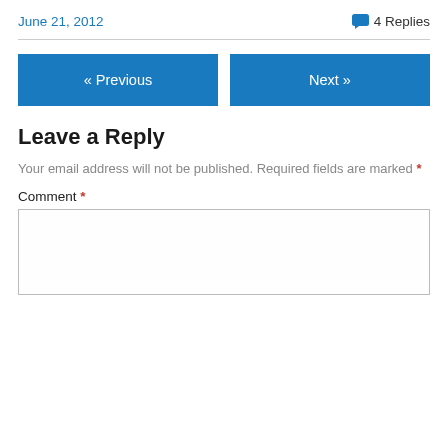June 21, 2012    💬 4 Replies
« Previous    Next »
Leave a Reply
Your email address will not be published. Required fields are marked *
Comment *